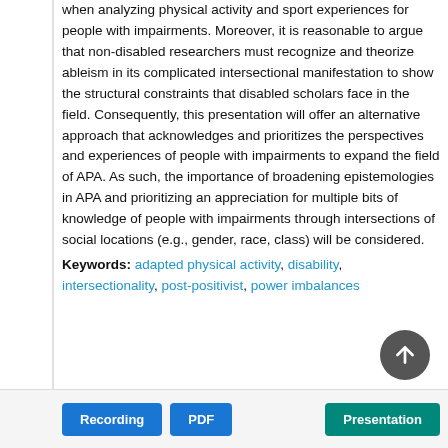when analyzing physical activity and sport experiences for people with impairments. Moreover, it is reasonable to argue that non-disabled researchers must recognize and theorize ableism in its complicated intersectional manifestation to show the structural constraints that disabled scholars face in the field. Consequently, this presentation will offer an alternative approach that acknowledges and prioritizes the perspectives and experiences of people with impairments to expand the field of APA. As such, the importance of broadening epistemologies in APA and prioritizing an appreciation for multiple bits of knowledge of people with impairments through intersections of social locations (e.g., gender, race, class) will be considered.
Keywords: adapted physical activity, disability, intersectionality, post-positivist, power imbalances